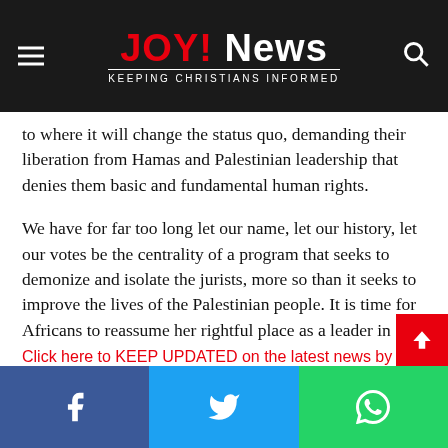JOY! News — KEEPING CHRISTIANS INFORMED
to where it will change the status quo, demanding their liberation from Hamas and Palestinian leadership that denies them basic and fundamental human rights.
We have for far too long let our name, let our history, let our votes be the centrality of a program that seeks to demonize and isolate the jurists, more so than it seeks to improve the lives of the Palestinian people. It is time for Africans to reassume her rightful place as a leader in relations with Israel. Just as she did 3000 years ago, by way of Queen Shiva, who visited King Solomon in Jerusalem.
Click here to KEEP UPDATED on the latest news by subscri...
[Figure (other): Social media share bar with Facebook, Twitter, and WhatsApp buttons at the bottom of the page]